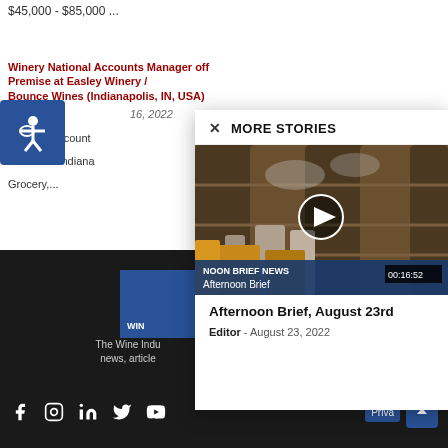$45,000 - $85,000 ...
Winery National Accounts Manager off Premise at Easley Winery / Bounce Wines (Indianapolis, IN, USA)
16, 2022
National Account
Remote > indiana
Grocery,...
MORE STORIES
[Figure (screenshot): Video thumbnail showing wine barrels/distillery equipment with play button overlay. Shows 'NOON BRIEF NEWS' banner, 'Afternoon Brief' label, and duration 00:16:52]
Afternoon Brief, August 23rd
Editor - August 23, 2022
[Figure (logo): Wine industry logo in blue square with text WIN]
The Wine Indu news, article
Con
Social links: Facebook, Instagram, LinkedIn, Twitter, YouTube | Privacy | Scroll to top